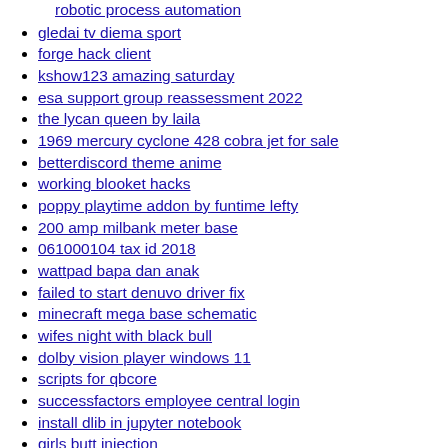robotic process automation
gledai tv diema sport
forge hack client
kshow123 amazing saturday
esa support group reassessment 2022
the lycan queen by laila
1969 mercury cyclone 428 cobra jet for sale
betterdiscord theme anime
working blooket hacks
poppy playtime addon by funtime lefty
200 amp milbank meter base
061000104 tax id 2018
wattpad bapa dan anak
failed to start denuvo driver fix
minecraft mega base schematic
wifes night with black bull
dolby vision player windows 11
scripts for qbcore
successfactors employee central login
install dlib in jupyter notebook
girls butt injection
dcuo feat tracker
mathpapa geometry calculator
ahm ho parts
honey select mod download